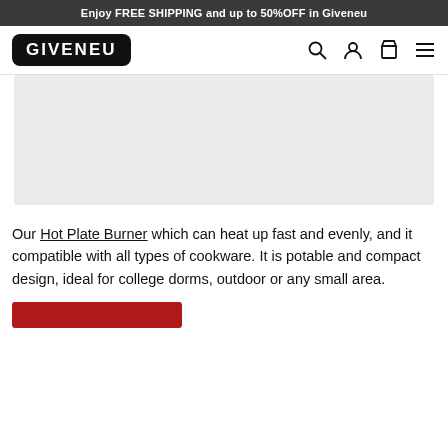Enjoy FREE SHIPPING and up to 50%OFF in Giveneu
[Figure (logo): GIVENEU logo in black rounded rectangle, with search, user, cart, and menu icons]
[Figure (photo): Gray placeholder image area for product photo]
Our Hot Plate Burner which can heat up fast and evenly, and it compatible with all types of cookware. It is potable and compact design, ideal for college dorms, outdoor or any small area.
[Figure (other): Red button (partially visible at bottom)]